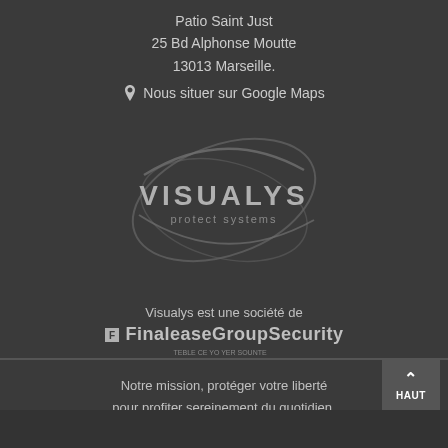Patio Saint Just
25 Bd Alphonse Moutte
13013 Marseille.
📍 Nous situer sur Google Maps
[Figure (logo): Visualys protect systems logo — swooping elliptical arcs around the company name in capital letters with 'protect systems' below in smaller text]
Visualys est une société de
[Figure (logo): Finalease Group Security logo — small square icon followed by bold text 'FinaleaseGroupSecurity' with small tagline below]
Notre mission, protéger votre liberté
pour profiter sereinement du quotidien.
HAUT